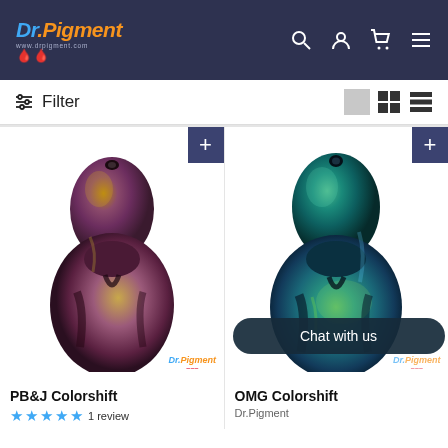Dr.Pigment — website navigation with logo, search, account, cart, and menu icons
Filter
[Figure (photo): PB&J Colorshift paint teardrop blob sample — iridescent purple, brown, green chameleon finish — on white background with Dr.Pigment watermark]
[Figure (photo): OMG Colorshift paint teardrop blob sample — iridescent teal, green, blue chameleon finish — on white background with Dr.Pigment watermark and 'Chat with us' overlay button]
PB&J Colorshift
★★★★★ 1 review
OMG Colorshift
Dr.Pigment